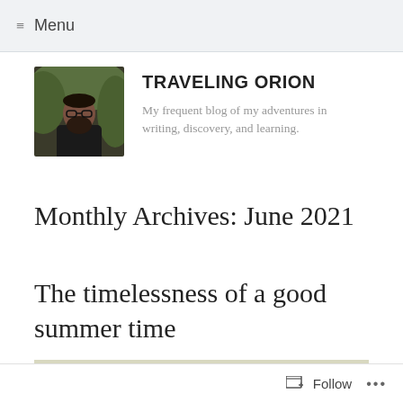≡ Menu
[Figure (photo): Avatar photo of a bearded man with glasses]
TRAVELING ORION
My frequent blog of my adventures in writing, discovery, and learning.
Monthly Archives: June 2021
The timelessness of a good summer time
[Figure (photo): Beach scene with people near water under a blue canopy]
Follow ...